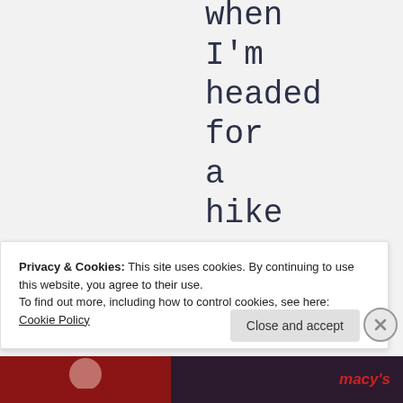when I'm headed for a hike or am walking
Privacy & Cookies: This site uses cookies. By continuing to use this website, you agree to their use. To find out more, including how to control cookies, see here: Cookie Policy
Close and accept